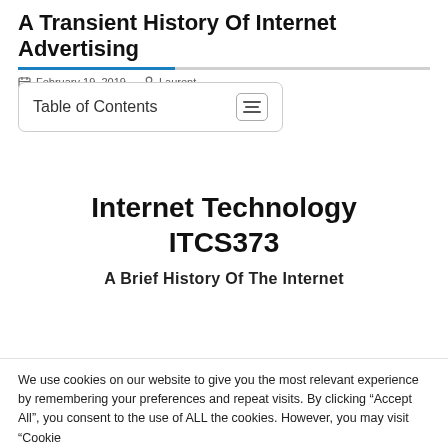A Transient History Of Internet Advertising
February 19, 2019   Laurent
Table of Contents
Internet Technology ITCS373
A Brief History Of The Internet
We use cookies on our website to give you the most relevant experience by remembering your preferences and repeat visits. By clicking “Accept All”, you consent to the use of ALL the cookies. However, you may visit “Cookie